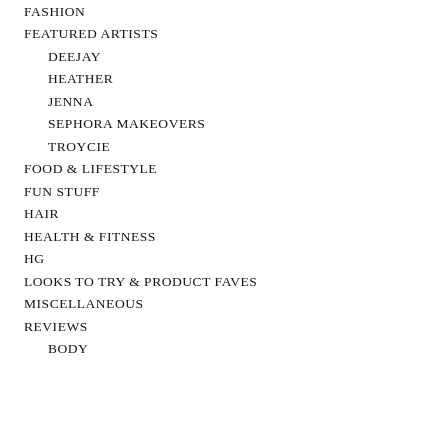FASHION
FEATURED ARTISTS
DEEJAY
HEATHER
JENNA
SEPHORA MAKEOVERS
TROYCIE
FOOD & LIFESTYLE
FUN STUFF
HAIR
HEALTH & FITNESS
HG
LOOKS TO TRY & PRODUCT FAVES
MISCELLANEOUS
REVIEWS
BODY